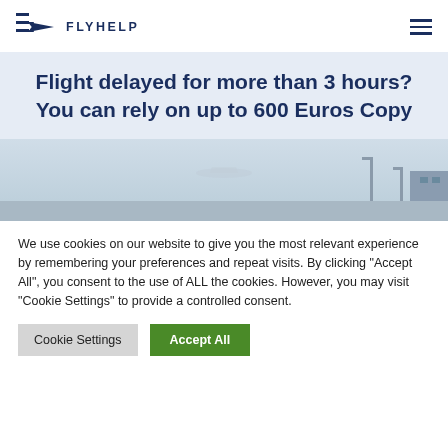FLYHELP
Flight delayed for more than 3 hours? You can rely on up to 600 Euros Copy
[Figure (photo): Foggy airport tarmac scene with light poles and terminal building in the background]
We use cookies on our website to give you the most relevant experience by remembering your preferences and repeat visits. By clicking "Accept All", you consent to the use of ALL the cookies. However, you may visit "Cookie Settings" to provide a controlled consent.
Cookie Settings | Accept All